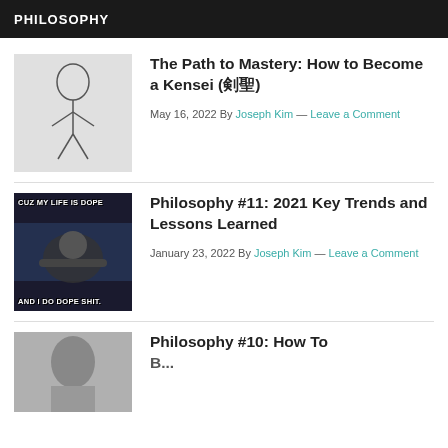PHILOSOPHY
The Path to Mastery: How to Become a Kensei (剣聖)
May 16, 2022 By Joseph Kim — Leave a Comment
Philosophy #11: 2021 Key Trends and Lessons Learned
January 23, 2022 By Joseph Kim — Leave a Comment
Philosophy #10: How To...